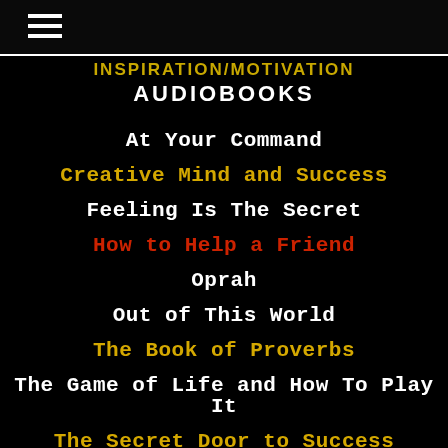☰
INSPIRATION/MOTIVATION
AUDIOBOOKS
At Your Command
Creative Mind and Success
Feeling Is The Secret
How to Help a Friend
Oprah
Out of This World
The Book of Proverbs
The Game of Life and How To Play It
The Secret Door to Success
Your Word Is Your Wand